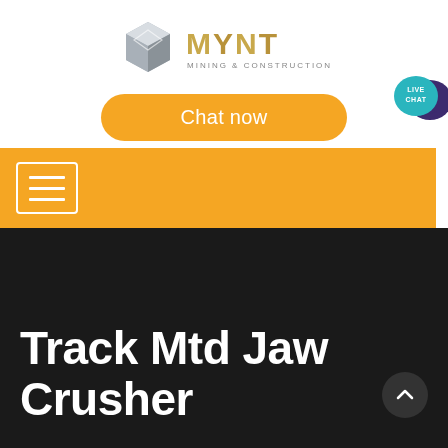[Figure (logo): MYNT Mining & Construction logo with metallic geometric diamond/cube icon and gold metallic text]
[Figure (other): Orange 'Chat now' button with rounded pill shape]
[Figure (other): Teal speech bubble with 'LIVE CHAT' text and dark purple chat bubble icon in upper right corner]
[Figure (other): Orange navigation bar with white-bordered hamburger menu icon (three horizontal lines)]
Track Mtd Jaw Crusher